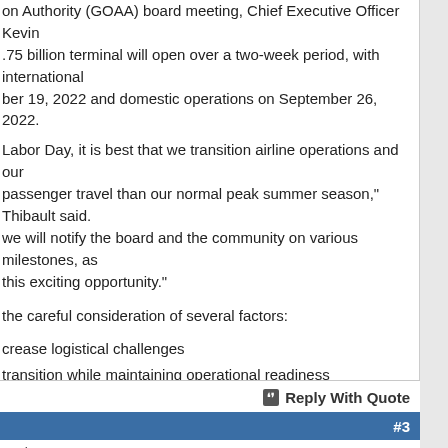on Authority (GOAA) board meeting, Chief Executive Officer Kevin .75 billion terminal will open over a two-week period, with international ber 19, 2022 and domestic operations on September 26, 2022.
Labor Day, it is best that we transition airline operations and our passenger travel than our normal peak summer season," Thibault said. we will notify the board and the community on various milestones, as this exciting opportunity."
the careful consideration of several factors:
crease logistical challenges
transition while maintaining operational readiness
imal customer service throughout entire airport campus
rror the ending/beginning of a new Fiscal Year
y one, Terminal C will be ready to accommodate our growing air the utmost in customer convenience," said Carson Good, Board o Aviation Authority. "Going ‘Beyond The Orlando Experience’ has lity and we’re confident that when it opens, it will exceed those
Reply With Quote
#3
| Join Date: | Mar 2007 | Location: | Northern England | Posts: | 14,716 |
| --- | --- | --- | --- | --- | --- |